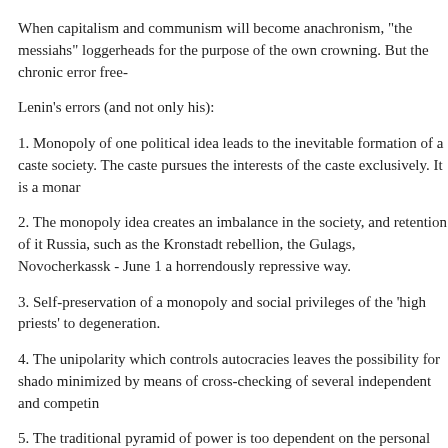When capitalism and communism will become anachronism, "the messiahs" loggerheads for the purpose of the own crowning. But the chronic error free-
Lenin's errors (and not only his):
1. Monopoly of one political idea leads to the inevitable formation of a caste society. The caste pursues the interests of the caste exclusively. It is a monar
2. The monopoly idea creates an imbalance in the society, and retention of it Russia, such as the Kronstadt rebellion, the Gulags, Novocherkassk - June 1 a horrendously repressive way.
3. Self-preservation of a monopoly and social privileges of the 'high priests' to degeneration.
4. The unipolarity which controls autocracies leaves the possibility for shado minimized by means of cross-checking of several independent and competin
5. The traditional pyramid of power is too dependent on the personal qualitie authoritarian Stalin, who built a socialist super state based on criminal rules, willed phrase to the kulak werewolf and drunkard Yeltsin. That this pyramid